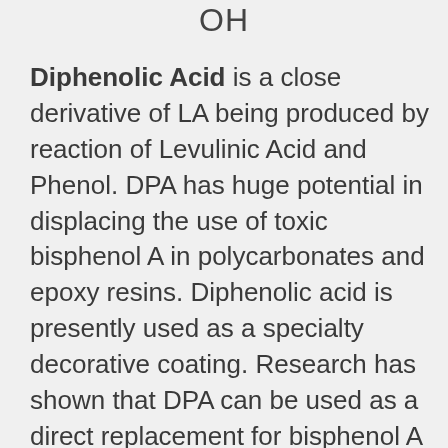[Figure (other): Partial chemical structure label showing 'OH' group at the top of the page, part of Diphenolic Acid structure]
Diphenolic Acid is a close derivative of LA being produced by reaction of Levulinic Acid and Phenol. DPA has huge potential in displacing the use of toxic bisphenol A in polycarbonates and epoxy resins. Diphenolic acid is presently used as a specialty decorative coating. Research has shown that DPA can be used as a direct replacement for bisphenol A in